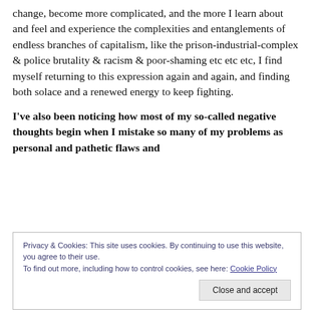change, become more complicated, and the more I learn about and feel and experience the complexities and entanglements of endless branches of capitalism, like the prison-industrial-complex & police brutality & racism & poor-shaming etc etc etc, I find myself returning to this expression again and again, and finding both solace and a renewed energy to keep fighting.
I've also been noticing how most of my so-called negative thoughts begin when I mistake so many of my problems as personal and pathetic flaws and
Privacy & Cookies: This site uses cookies. By continuing to use this website, you agree to their use.
To find out more, including how to control cookies, see here: Cookie Policy